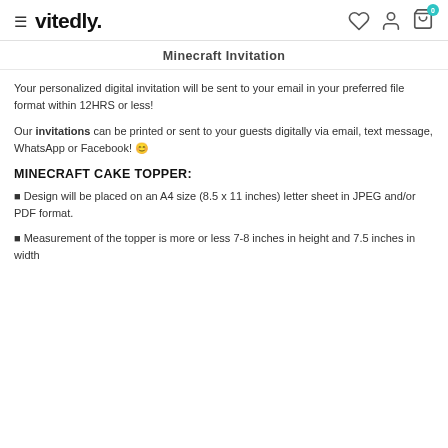vitedly.
Minecraft Invitation
Your personalized digital invitation will be sent to your email in your preferred file format within 12HRS or less!
Our invitations can be printed or sent to your guests digitally via email, text message, WhatsApp or Facebook! 😊
MINECRAFT CAKE TOPPER:
Design will be placed on an A4 size (8.5 x 11 inches) letter sheet in JPEG and/or PDF format.
Measurement of the topper is more or less 7-8 inches in height and 7.5 inches in width